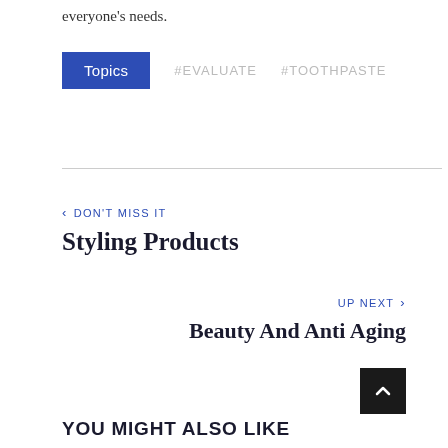everyone's needs.
Topics  #EVALUATE  #TOOTHPASTE
< DON'T MISS IT
Styling Products
UP NEXT >
Beauty And Anti Aging
YOU MIGHT ALSO LIKE